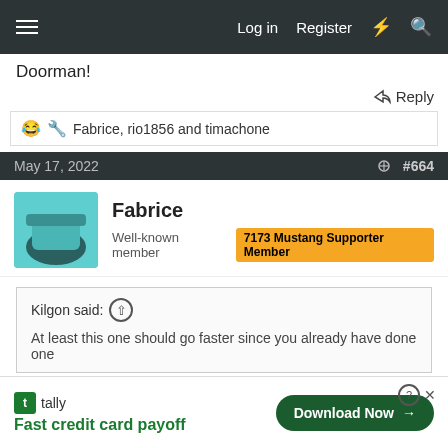Log in   Register
Doorman!
Reply
Fabrice, rio1856 and timachone
May 17, 2022  #664
Fabrice
Well-known member  7173 Mustang Supporter Member
Kilgon said:
At least this one should go faster since you already have done one
There is a tad bit less work, mainly this side seams to not have been repaired in the middle of the outer skin so my neighbours